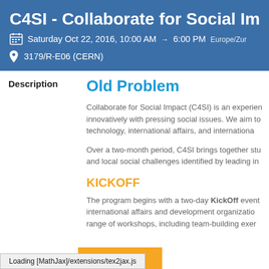C4SI - Collaborate for Social Impac
Saturday Oct 22, 2016, 10:00 AM → 6:00 PM Europe/Zur
3179/R-E06 (CERN)
Description
Old Problem
Collaborate for Social Impact (C4SI) is an experien... innovatively with pressing social issues. We aim to... technology, international affairs, and internationa...
Over a two-month period, C4SI brings together stu... and local social challenges identified by leading in...
KICKOFF
The program begins with a two-day KickOff event... international affairs and development organizatio... range of workshops, including team-building exer...
Loading [MathJax]/extensions/tex2jax.js